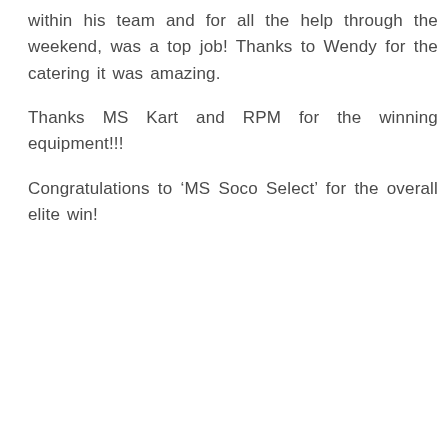within his team and for all the help through the weekend, was a top job! Thanks to Wendy for the catering it was amazing.
Thanks MS Kart and RPM for the winning equipment!!!
Congratulations to ‘MS Soco Select’ for the overall elite win!